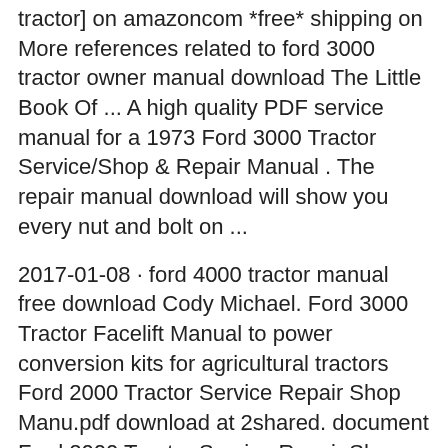tractor] on amazoncom *free* shipping on More references related to ford 3000 tractor owner manual download The Little Book Of ... A high quality PDF service manual for a 1973 Ford 3000 Tractor Service/Shop & Repair Manual . The repair manual download will show you every nut and bolt on ...
2017-01-08 · ford 4000 tractor manual free download Cody Michael. Ford 3000 Tractor Facelift Manual to power conversion kits for agricultural tractors Ford 2000 Tractor Service Repair Shop Manu.pdf download at 2shared. document Ford 2000 Tractor Service Repair Shop Manu.pdf download at www.2shared.com.